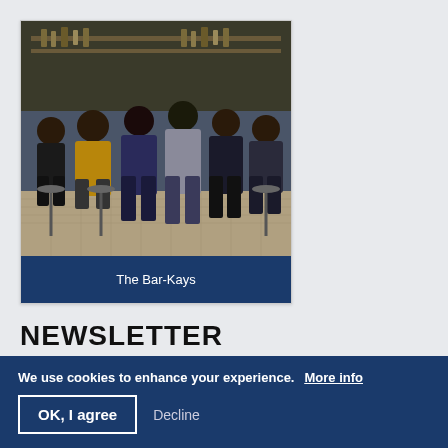[Figure (photo): Group photo of The Bar-Kays band members, six men in stylish dark clothing, sitting and standing in what appears to be a bar or restaurant interior.]
The Bar-Kays
NEWSLETTER
We use cookies to enhance your experience. More info
OK, I agree   Decline